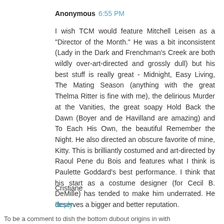Anonymous 6:55 PM
I wish TCM would feature Mitchell Leisen as a "Director of the Month." He was a bit inconsistent (Lady in the Dark and Frenchman's Creek are both wildly over-art-directed and grossly dull) but his best stuff is really great - Midnight, Easy Living, The Mating Season (anything with the great Thelma Ritter is fine with me), the delirious Murder at the Vanities, the great soapy Hold Back the Dawn (Boyer and de Havilland are amazing) and To Each His Own, the beautiful Remember the Night. He also directed an obscure favorite of mine, Kitty. This is brilliantly costumed and art-directed by Raoul Pene du Bois and features what I think is Paulette Goddard's best performance. I think that his start as a costume designer (for Cecil B. DeMille) has tended to make him underrated. He deserves a bigger and better reputation.
Cristiane
Reply
To be a comment to dish the bottom dubout origins in with